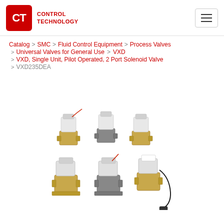CT Control Technology — navigation header with hamburger menu
Catalog > SMC > Fluid Control Equipment > Process Valves > Universal Valves for General Use > VXD
> VXD, Single Unit, Pilot Operated, 2 Port Solenoid Valve
> VXD235DEA
[Figure (photo): Group of six VXD series pilot operated 2-port solenoid valves in various configurations, showing brass and grey bodied units with white solenoid coil housings]